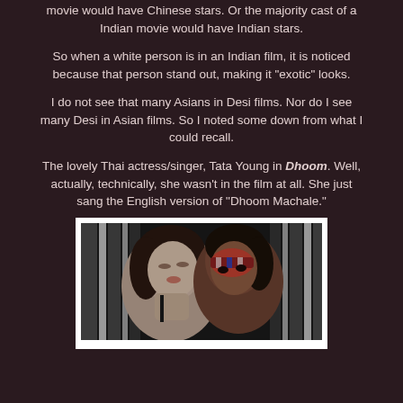movie would have Chinese stars. Or the majority cast of a Indian movie would have Indian stars.
So when a white person is in an Indian film, it is noticed because that person stand out, making it "exotic" looks.
I do not see that many Asians in Desi films. Nor do I see many Desi in Asian films. So I noted some down from what I could recall.
The lovely Thai actress/singer, Tata Young in Dhoom. Well, actually, technically, she wasn't in the film at all. She just sang the English version of "Dhoom Machale."
[Figure (photo): Black and white photo of two people close together, one wearing a decorative mask, in an artistic intimate pose with vertical light elements in the background.]